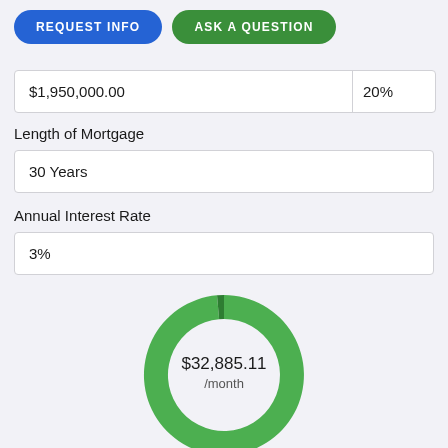REQUEST INFO
ASK A QUESTION
| $1,950,000.00 | 20% |
Length of Mortgage
| 30 Years |
Annual Interest Rate
| 3% |
[Figure (donut-chart): $32,885.11 /month]